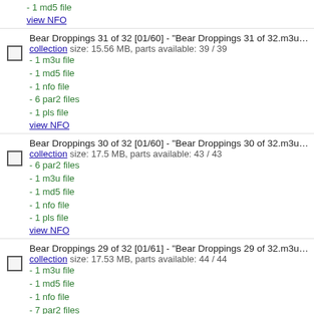- 1 md5 file
view NFO
Bear Droppings 31 of 32 [01/60] - "Bear Droppings 31 of 32.m3u" yEnc
collection size: 15.56 MB, parts available: 39 / 39
- 1 m3u file
- 1 md5 file
- 1 nfo file
- 6 par2 files
- 1 pls file
view NFO
Bear Droppings 30 of 32 [01/60] - "Bear Droppings 30 of 32.m3u" yEnc
collection size: 17.5 MB, parts available: 43 / 43
- 6 par2 files
- 1 m3u file
- 1 md5 file
- 1 nfo file
- 1 pls file
view NFO
Bear Droppings 29 of 32 [01/61] - "Bear Droppings 29 of 32.m3u" yEnc
collection size: 17.53 MB, parts available: 44 / 44
- 1 m3u file
- 1 md5 file
- 1 nfo file
- 7 par2 files
- 1 pls file
view NFO
Bear Droppings 28 of 32 [01/60] - "Bear Droppings 28 of 32.m3u" yEnc
collection size: 18.15 MB, parts available: 44 / 44
- 1 pls file
- 6 par2 files
- 1 m3u file
- 1 md5 file
- 1 nfo file
view NFO
Bear Droppings 27 of 32 [01/60] - "Bear Droppings 27 of 32.m3u" yEnc